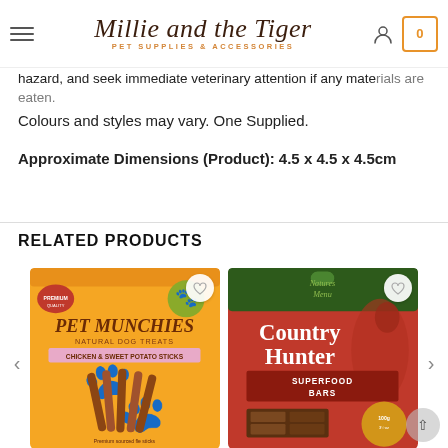Millie and the Tiger — PET SUPPLIES & ACCESSORIES
hazard, and seek immediate veterinary attention if any materials are eaten.
Colours and styles may vary. One Supplied.
Approximate Dimensions (Product): 4.5 x 4.5 x 4.5cm
RELATED PRODUCTS
[Figure (photo): Pet Munchies Natural Dog Treats — Chicken & Sweet Potato Sticks product bag, orange packaging with paw print]
[Figure (photo): Natures Menu Country Hunter Superfood Bars — Beef with Spinach & Quinoa, red and green packaging with dog silhouette]